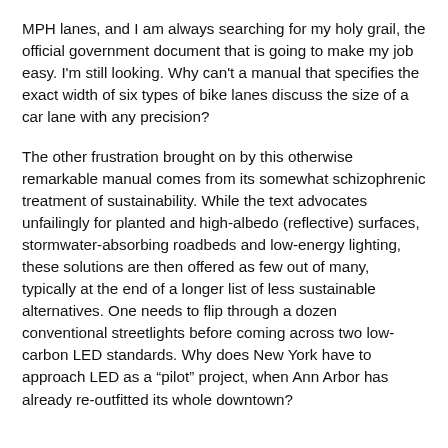MPH lanes, and I am always searching for my holy grail, the official government document that is going to make my job easy. I'm still looking. Why can't a manual that specifies the exact width of six types of bike lanes discuss the size of a car lane with any precision?
The other frustration brought on by this otherwise remarkable manual comes from its somewhat schizophrenic treatment of sustainability. While the text advocates unfailingly for planted and high-albedo (reflective) surfaces, stormwater-absorbing roadbeds and low-energy lighting, these solutions are then offered as few out of many, typically at the end of a longer list of less sustainable alternatives. One needs to flip through a dozen conventional streetlights before coming across two low-carbon LED standards. Why does New York have to approach LED as a “pilot” project, when Ann Arbor has already re-outfitted its whole downtown?